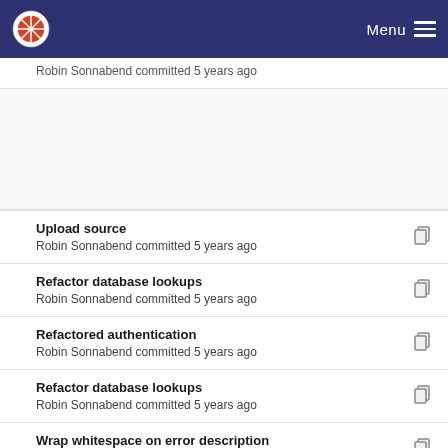Menu
Robin Sonnabend committed 5 years ago
Upload source
Robin Sonnabend committed 5 years ago
Refactor database lookups
Robin Sonnabend committed 5 years ago
Refactored authentication
Robin Sonnabend committed 5 years ago
Refactor database lookups
Robin Sonnabend committed 5 years ago
Wrap whitespace on error description
Robin Sonnabend committed 5 years ago
Upload source
Robin Sonnabend committed 5 years ago